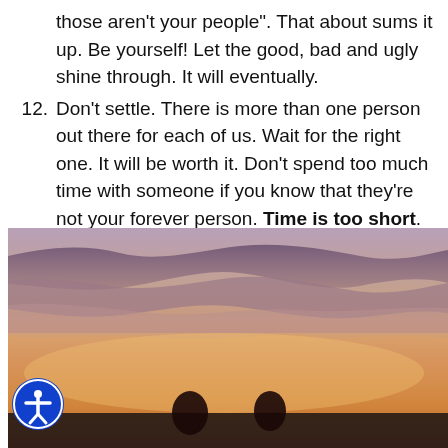those aren't your people". That about sums it up. Be yourself! Let the good, bad and ugly shine through. It will eventually.
12. Don't settle. There is more than one person out there for each of us. Wait for the right one. It will be worth it. Don't spend too much time with someone if you know that they're not your forever person. Time is too short.
[Figure (photo): A sunset sky with warm orange and purple hues, dramatic clouds, and silhouettes of people at the bottom edge of the frame.]